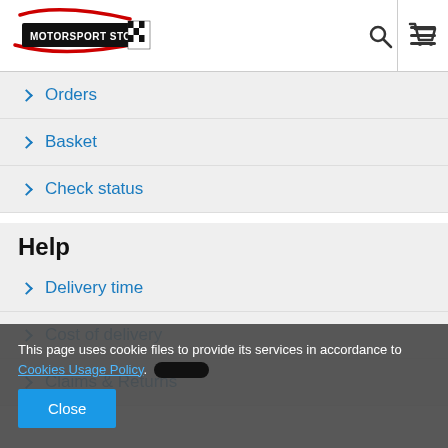[Figure (logo): Motorsport Store logo with checkered flag and red swoosh]
Orders
Basket
Check status
Help
Delivery time
Cost of delivery
Claims & Returns
This page uses cookie files to provide its services in accordance to Cookies Usage Policy.
Close